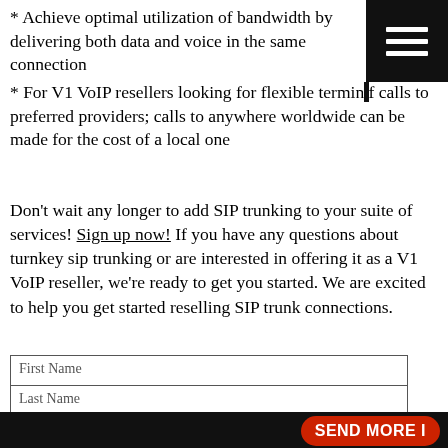* Achieve optimal utilization of bandwidth by delivering both data and voice in the same connection
* For V1 VoIP resellers looking for flexible termination of calls to preferred providers; calls to anywhere worldwide can be made for the cost of a local one
Don't wait any longer to add SIP trunking to your suite of services! Sign up now! If you have any questions about turnkey sip trunking or are interested in offering it as a V1 VoIP reseller, we're ready to get you started. We are excited to help you get started reselling SIP trunk connections.
| First Name |
| Last Name |
| Company Name |
| Company Email |
| Company Phone |
By checking this box, I agree to V1 VoIP's Terms and Conditions
[Figure (other): reCAPTCHA widget with checkbox and 'I'm not a robot' text]
SEND MORE I